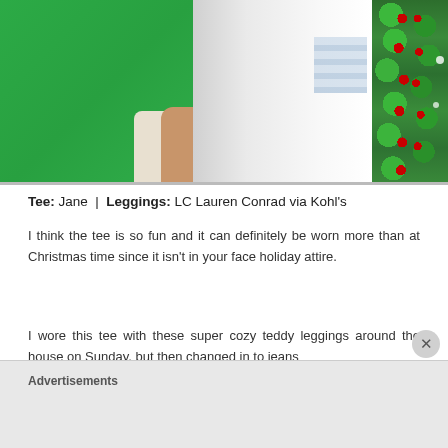[Figure (photo): Photo of a person wearing a green tee shirt with cream/white leggings, hand visible, with a Christmas holly garland decoration on the right side of the frame against a white background.]
Tee: Jane | Leggings: LC Lauren Conrad via Kohl's
I think the tee is so fun and it can definitely be worn more than at Christmas time since it isn't in your face holiday attire.
I wore this tee with these super cozy teddy leggings around the house on Sunday, but then changed in to jeans
Advertisements